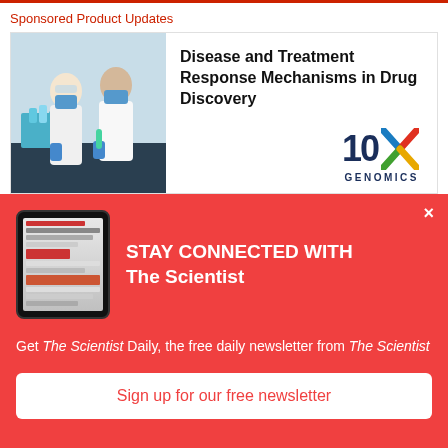Sponsored Product Updates
[Figure (photo): Two scientists in lab coats and blue gloves and face masks working in a laboratory with blue liquid samples]
Disease and Treatment Response Mechanisms in Drug Discovery
[Figure (logo): 10x Genomics logo — '10x' in navy blue with a multicolor X mark, 'GENOMICS' in navy blue below]
[Figure (photo): Tablet device showing The Scientist Daily newsletter interface]
STAY CONNECTED WITH The Scientist
Get The Scientist Daily, the free daily newsletter from The Scientist
Sign up for our free newsletter